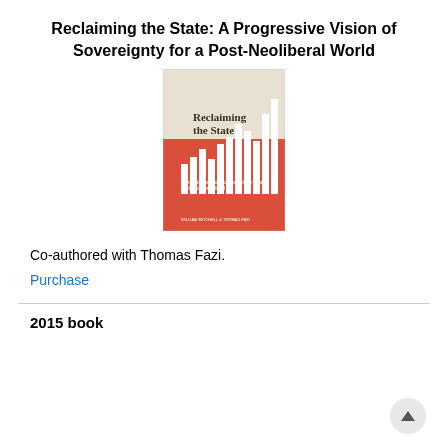Reclaiming the State: A Progressive Vision of Sovereignty for a Post-Neoliberal World
[Figure (photo): Book cover of 'Reclaiming the State: A Progressive Vision of Sovereignty for a Post-Neoliberal World' by William Mitchell & Thomas Fazi. Red cover with bar chart design.]
Co-authored with Thomas Fazi.
Purchase
2015 book